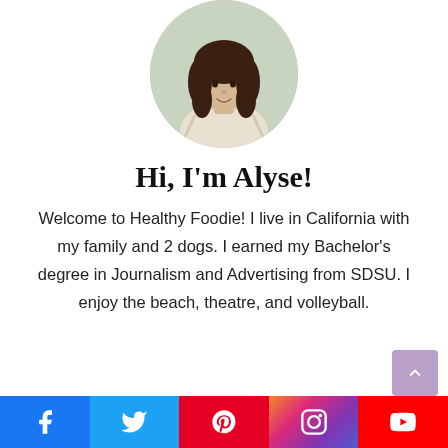[Figure (photo): Circular profile photo of a woman with curly dark hair wearing a light-colored t-shirt, outdoors with green foliage in background]
Hi, I'm Alyse!
Welcome to Healthy Foodie! I live in California with my family and 2 dogs. I earned my Bachelor's degree in Journalism and Advertising from SDSU. I enjoy the beach, theatre, and volleyball.
[Figure (infographic): Social media bar at bottom with Facebook, Twitter, Pinterest, Instagram, and YouTube icons]